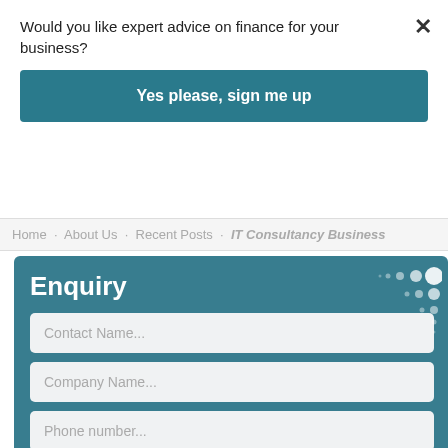Would you like expert advice on finance for your business?
Yes please, sign me up
Home · About Us · Recent Posts · IT Consultancy Business
Enquiry
Contact Name...
Company Name...
Phone number...
E-mail...
Details of Enquiry...